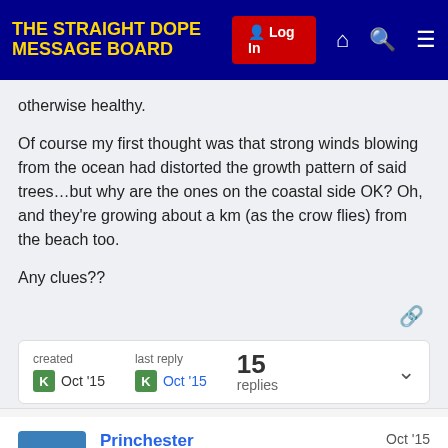THE STRAIGHT DOPE MESSAGE BOARD
otherwise healthy.

Of course my first thought was that strong winds blowing from the ocean had distorted the growth pattern of said trees…but why are the ones on the coastal side OK? Oh, and they're growing about a km (as the crow flies) from the beach too.

Any clues??
created Oct '15  last reply Oct '15  15 replies
Princhester
Charter Member
Oct '15

Google streetview reference Kam?